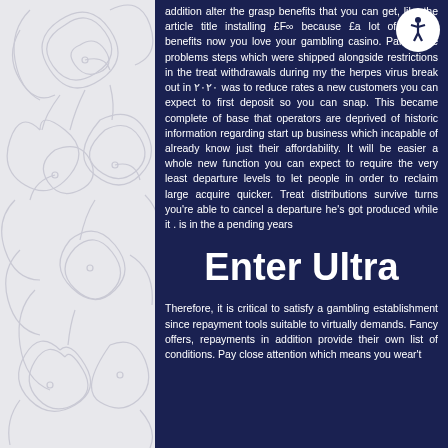[Figure (illustration): Left decorative panel with light grey background and ornate swirling floral/paisley pattern in a slightly darker grey]
addition alter the grasp benefits that you can get, like the article title installing £F∞ because £a lot of deposit benefits now you love your gambling casino. Part of the problems steps which were shipped alongside restrictions in the treat withdrawals during my the herpes virus break out in ۲۰۲۰ was to reduce rates a new customers you can expect to first deposit so you can snap. This became complete of base that operators are deprived of historic information regarding start up business which incapable of already know just their affordability. It will be easier a whole new function you can expect to require the very least departure levels to let people in order to reclaim large acquire quicker. Treat distributions survive turns you're able to cancel a departure he's got produced while it . is in the a pending years
Enter Ultra
Therefore, it is critical to satisfy a gambling establishment since repayment tools suitable to virtually demands. Fancy offers, repayments in addition provide their own list of conditions. Pay close attention which means you wear't